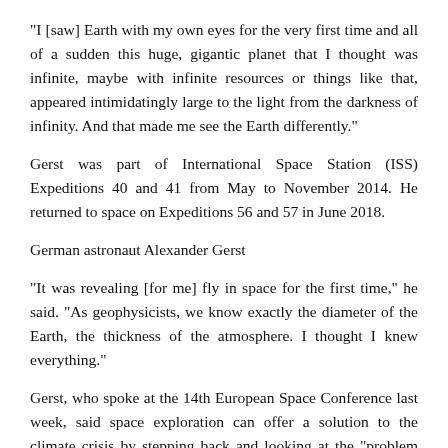“I [saw] Earth with my own eyes for the very first time and all of a sudden this huge, gigantic planet that I thought was infinite, maybe with infinite resources or things like that, appeared intimidatingly large to the light from the darkness of infinity. And that made me see the Earth differently.”
Gerst was part of International Space Station (ISS) Expeditions 40 and 41 from May to November 2014. He returned to space on Expeditions 56 and 57 in June 2018.
German astronaut Alexander Gerst
“It was revealing [for me] fly in space for the first time,” he said. “As geophysicists, we know exactly the diameter of the Earth, the thickness of the atmosphere. I thought I knew everything.”
Gerst, who spoke at the 14th European Space Conference last week, said space exploration can offer a solution to the climate crisis by stepping back and looking at the “problem from the outside”.
“We astronauts have to carry this view, this change of perspective [back]